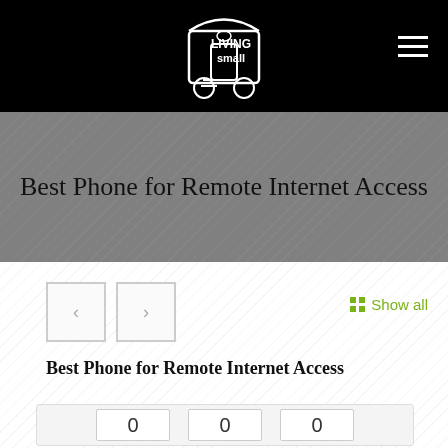Living Small – logo and navigation header
Best Phone for Remote Internet Access
Best Phone for Remote Internet Access
Show all
0  0  0